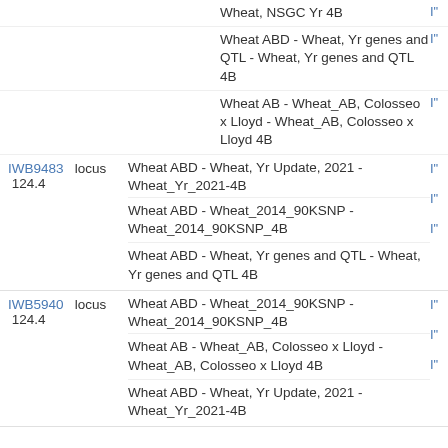Wheat, NSGC Yr 4B
Wheat ABD - Wheat, Yr genes and QTL - Wheat, Yr genes and QTL 4B
Wheat AB - Wheat_AB, Colosseo x Lloyd - Wheat_AB, Colosseo x Lloyd 4B
IWB9483   locus   124.4
Wheat ABD - Wheat, Yr Update, 2021 - Wheat_Yr_2021-4B
Wheat ABD - Wheat_2014_90KSNP - Wheat_2014_90KSNP_4B
Wheat ABD - Wheat, Yr genes and QTL - Wheat, Yr genes and QTL 4B
Wheat ABD - Wheat_2014_90KSNP - Wheat_2014_90KSNP_4B
IWB5940   locus   124.4
Wheat AB - Wheat_AB, Colosseo x Lloyd - Wheat_AB, Colosseo x Lloyd 4B
Wheat ABD - Wheat, Yr Update, 2021 - Wheat_Yr_2021-4B